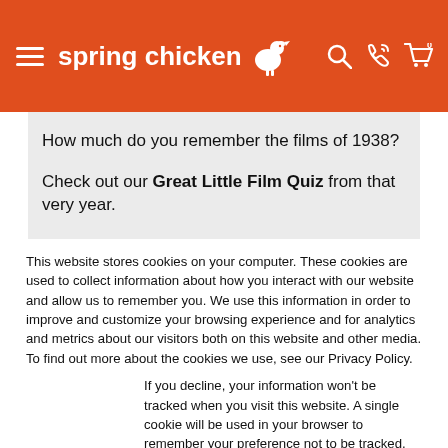Spring Chicken — website header navigation bar
How much do you remember the films of 1938?
Check out our Great Little Film Quiz from that very year.
This website stores cookies on your computer. These cookies are used to collect information about how you interact with our website and allow us to remember you. We use this information in order to improve and customize your browsing experience and for analytics and metrics about our visitors both on this website and other media. To find out more about the cookies we use, see our Privacy Policy.
If you decline, your information won't be tracked when you visit this website. A single cookie will be used in your browser to remember your preference not to be tracked.